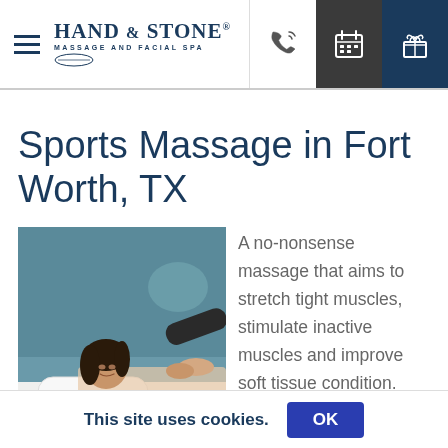Hand & Stone Massage and Facial Spa — navigation header with phone, calendar, and gift icons
Sports Massage in Fort Worth, TX
[Figure (photo): Woman receiving a back/shoulder massage at a Hand & Stone spa, lying face down on a massage table with a branded pillow, smiling.]
A no-nonsense massage that aims to stretch tight muscles, stimulate inactive muscles and improve soft tissue condition. Sports
This site uses cookies.  OK